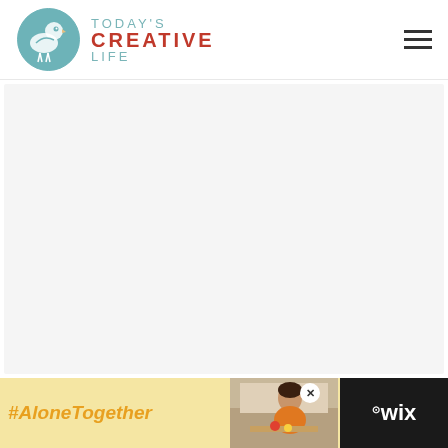[Figure (logo): Today's Creative Life logo with teal bird circle icon and text: TODAY'S CREATIVE LIFE]
[Figure (illustration): Hamburger menu icon (three horizontal lines) in top right corner]
[Figure (photo): Large light gray content area filling most of the page]
[Figure (infographic): Advertisement banner at bottom: #AloneTogether text in orange italic on yellow background with photo of woman at kitchen table, close button, and Wix logo on dark background]